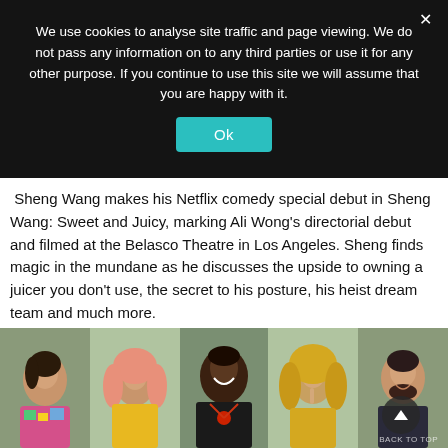We use cookies to analyse site traffic and page viewing. We do not pass any information on to any third parties or use it for any other purpose. If you continue to use this site we will assume that you are happy with it.
Ok
Sheng Wang makes his Netflix comedy special debut in Sheng Wang: Sweet and Juicy, marking Ali Wong's directorial debut and filmed at the Belasco Theatre in Los Angeles. Sheng finds magic in the mundane as he discusses the upside to owning a juicer you don't use, the secret to his posture, his heist dream team and much more.
[Figure (photo): A photo strip showing five people posing in front of light-colored backgrounds. From left to right: a woman with dark hair wearing a colorful floral top, a woman wearing a salmon/orange hijab and yellow jacket, a tall man in a black turtleneck with a red necklace smiling broadly, a woman in a golden/yellow hijab holding her finger to her lips, and a man with a beard wearing a dark jacket.]